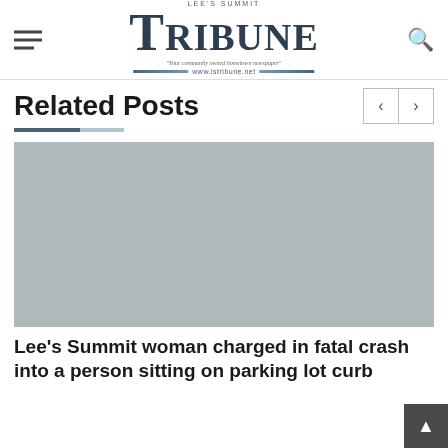Lee's Summit Tribune — www.lstribune.net
Related Posts
[Figure (photo): Gray placeholder image for a related article photo]
Lee's Summit woman charged in fatal crash into a person sitting on parking lot curb